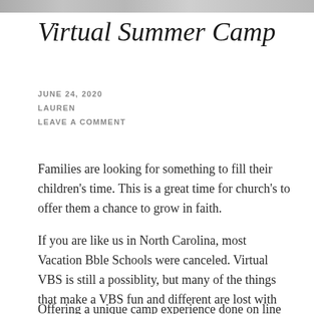[Figure (photo): Header image strip across the top of the page, appears to be a decorative banner photo]
Virtual Summer Camp
JUNE 24, 2020
LAUREN
LEAVE A COMMENT
Families are looking for something to fill their children's time. This is a great time for church's to offer them a chance to grow in faith.
If you are like us in North Carolina, most Vacation Bble Schools were canceled. Virtual VBS is still a possiblity, but many of the things that make a VBS fun and different are lost with the online version.
Offering a unique camp experience done on line...